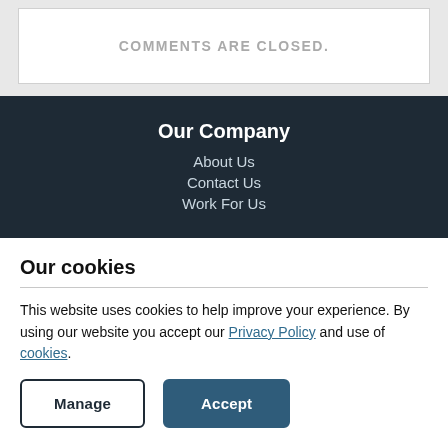COMMENTS ARE CLOSED.
Our Company
About Us
Contact Us
Work For Us
Our cookies
This website uses cookies to help improve your experience. By using our website you accept our Privacy Policy and use of cookies.
Manage
Accept